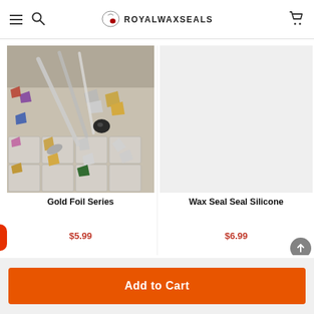ROYALWAXSEALS
[Figure (photo): Gold foil series product — a plastic organizer tray with multiple compartments filled with metallic foil pieces in various colors: gold, silver, purple, blue, pink, red, green, and black, with small scoops.]
Gold Foil Series
$5.99
[Figure (photo): Wax Seal Seal Silicone product shown as a large teal/sage green circle on a light grey background.]
Wax Seal Seal Silicone
$6.99
Add to Cart